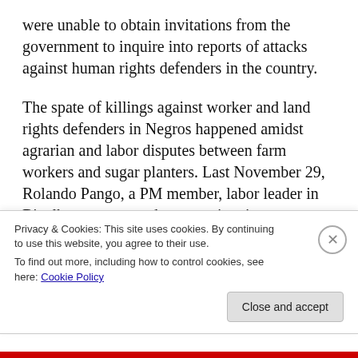were unable to obtain invitations from the government to inquire into reports of attacks against human rights defenders in the country.
The spate of killings against worker and land rights defenders in Negros happened amidst agrarian and labor disputes between farm workers and sugar planters. Last November 29, Rolando Pango, a PM member, labor leader in Binalbagan town and an organizer in neighboring Isabela town died after being shot in the head by two men. Pango had previously received death threats while he was assisting workers of
Privacy & Cookies: This site uses cookies. By continuing to use this website, you agree to their use.
To find out more, including how to control cookies, see here: Cookie Policy
Close and accept